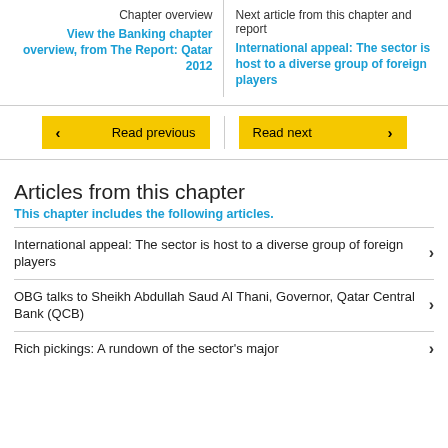Chapter overview
View the Banking chapter overview, from The Report: Qatar 2012
Next article from this chapter and report
International appeal: The sector is host to a diverse group of foreign players
Read previous
Read next
Articles from this chapter
This chapter includes the following articles.
International appeal: The sector is host to a diverse group of foreign players
OBG talks to Sheikh Abdullah Saud Al Thani, Governor, Qatar Central Bank (QCB)
Rich pickings: A rundown of the sector's major